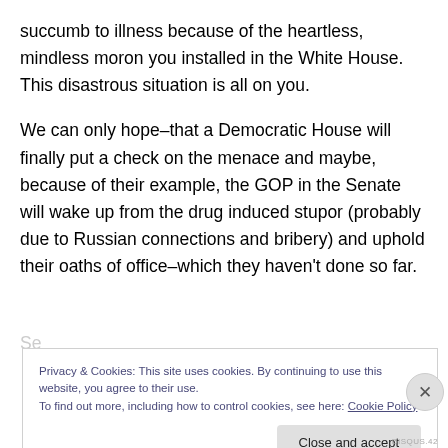succumb to illness because of the heartless, mindless moron you installed in the White House. This disastrous situation is all on you.
We can only hope–that a Democratic House will finally put a check on the menace and maybe, because of their example, the GOP in the Senate will wake up from the drug induced stupor (probably due to Russian connections and bribery) and uphold their oaths of office–which they haven't done so far.
...
Privacy & Cookies: This site uses cookies. By continuing to use this website, you agree to their use.
To find out more, including how to control cookies, see here: Cookie Policy